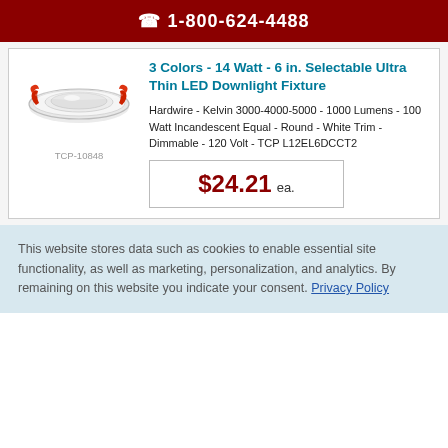1-800-624-4488
[Figure (photo): LED downlight fixture product image - round white trim with red mounting clips, viewed from above]
TCP-10848
3 Colors - 14 Watt - 6 in. Selectable Ultra Thin LED Downlight Fixture
Hardwire - Kelvin 3000-4000-5000 - 1000 Lumens - 100 Watt Incandescent Equal - Round - White Trim - Dimmable - 120 Volt - TCP L12EL6DCCT2
$24.21 ea.
This website stores data such as cookies to enable essential site functionality, as well as marketing, personalization, and analytics. By remaining on this website you indicate your consent. Privacy Policy